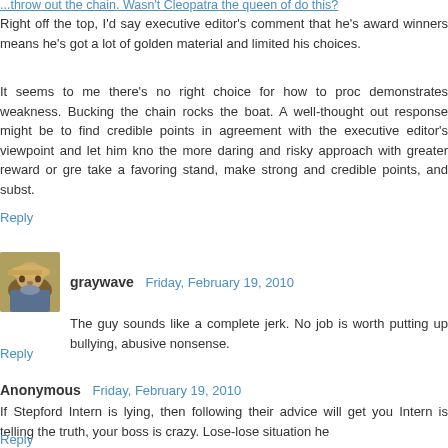...throw out the chain. Wasn't Cleopatra the queen of do this?
Right off the top, I'd say executive editor's comment that he's award winners means he's got a lot of golden material and limited his choices.
It seems to me there's no right choice for how to proc demonstrates weakness. Bucking the chain rocks the boat. A well-thought out response might be to find credible points in agreement with the executive editor's viewpoint and let him kno the more daring and risky approach with greater reward or gre take a favoring stand, make strong and credible points, and subst.
Reply
graywave  Friday, February 19, 2010
The guy sounds like a complete jerk. No job is worth putting up bullying, abusive nonsense.
Reply
Anonymous  Friday, February 19, 2010
If Stepford Intern is lying, then following their advice will get you Intern is telling the truth, your boss is crazy. Lose-lose situation he
Reply